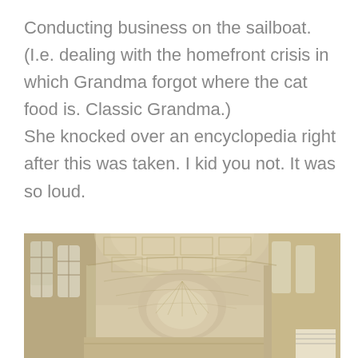Conducting business on the sailboat. (I.e. dealing with the homefront crisis in which Grandma forgot where the cat food is. Classic Grandma.) She knocked over an encyclopedia right after this was taken. I kid you not. It was so loud.
[Figure (photo): Interior photo of a grand classical building hallway with arched vaulted ceilings, ornate plasterwork, tall arched windows on the left side, and a domed apse at the far end. The color palette is warm beige and cream tones.]